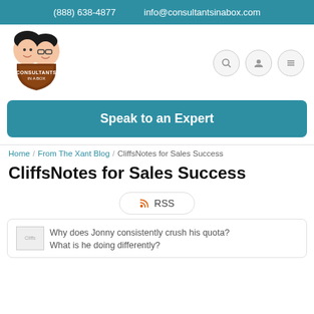(888) 638-4877    info@consultantsinabox.com
[Figure (logo): Consultants In A Box cartoon logo with two cartoon characters and brown shield badge]
Speak to an Expert
Home / From The Xant Blog / CliffsNotes for Sales Success
CliffsNotes for Sales Success
RSS
Why does Jonny consistently crush his quota? What is he doing differently?